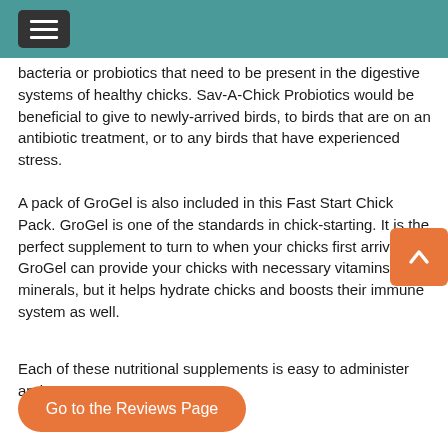bacteria or probiotics that need to be present in the digestive systems of healthy chicks. Sav-A-Chick Probiotics would be beneficial to give to newly-arrived birds, to birds that are on an antibiotic treatment, or to any birds that have experienced stress.
A pack of GroGel is also included in this Fast Start Chick Pack. GroGel is one of the standards in chick-starting. It is the perfect supplement to turn to when your chicks first arrive. GroGel can provide your chicks with necessary vitamins and minerals, but it helps hydrate chicks and boosts their immune system as well.
Each of these nutritional supplements is easy to administer and use.
Go to the Reviews Page